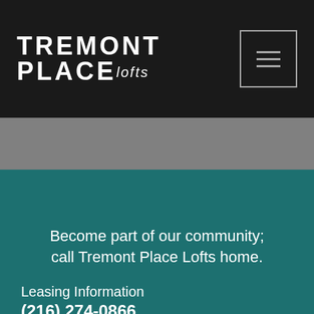[Figure (logo): Tremont Place Lofts logo in white text on black background with stylized art deco lettering]
Become part of our community; call Tremont Place Lofts home.
Leasing Information
(216) 274-0866
TREMONT PLACE LOFTS